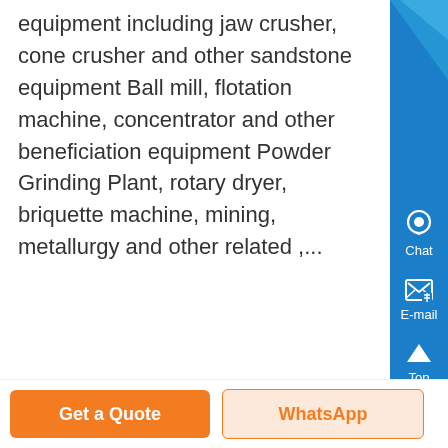equipment including jaw crusher, cone crusher and other sandstone equipment Ball mill, flotation machine, concentrator and other beneficiation equipment Powder Grinding Plant, rotary dryer, briquette machine, mining, metallurgy and other related ,...
[Figure (photo): Close-up photo of metallic bolts and nuts, blurred industrial background]
Get a Quote
WhatsApp